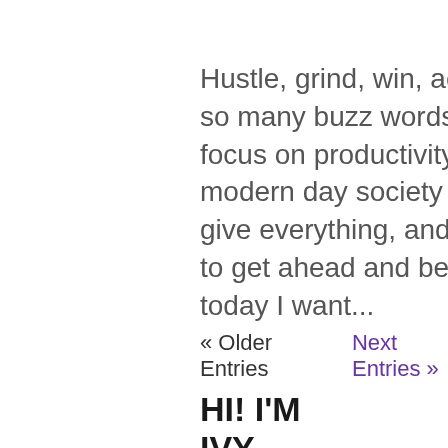Hustle, grind, win, achieve… there are so many buzz words these days that focus on productivity.  It is a trend in our modern day society to do everything, give everything, and risk everything just to get ahead and be "successful".  But today I want...
« Older Entries    Next Entries »
HI! I'M IVY
[Figure (illustration): Pixel art emoji face with frowning expression, yellow circle face with orange hands/arms and teal body, holding an object]